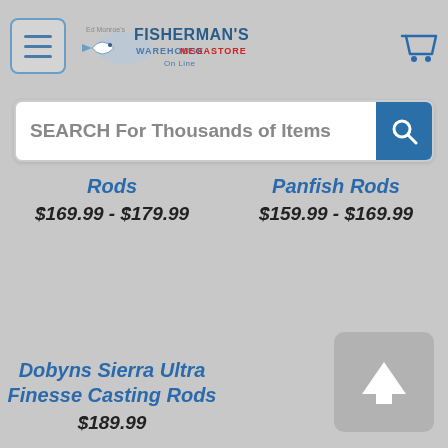Fisherman's Warehouse Megastore Online — navigation header with logo, menu button, and cart icon
SEARCH For Thousands of Items
Rods
$169.99 - $179.99
Panfish Rods
$159.99 - $169.99
Dobyns Sierra Ultra Finesse Casting Rods
$189.99